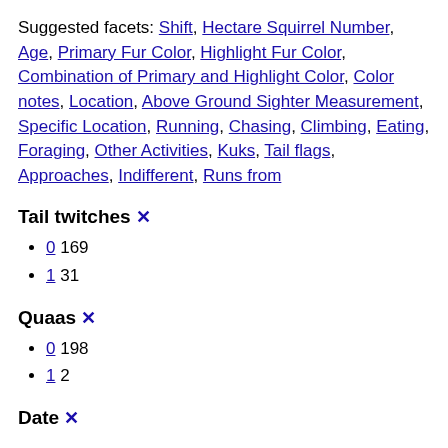Suggested facets: Shift, Hectare Squirrel Number, Age, Primary Fur Color, Highlight Fur Color, Combination of Primary and Highlight Color, Color notes, Location, Above Ground Sighter Measurement, Specific Location, Running, Chasing, Climbing, Eating, Foraging, Other Activities, Kuks, Tail flags, Approaches, Indifferent, Runs from
Tail twitches ×
0 169
1 31
Quaas ×
0 198
1 2
Date ×